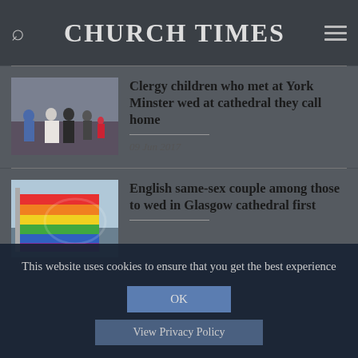CHURCH TIMES
[Figure (photo): Group of people in formal attire including a bride and groom outside a cathedral]
Clergy children who met at York Minster wed at cathedral they call home
09 Jun 2017
[Figure (photo): Rainbow pride flag waving]
English same-sex couple among those to wed in Glasgow cathedral first
This website uses cookies to ensure that you get the best experience
OK
View Privacy Policy